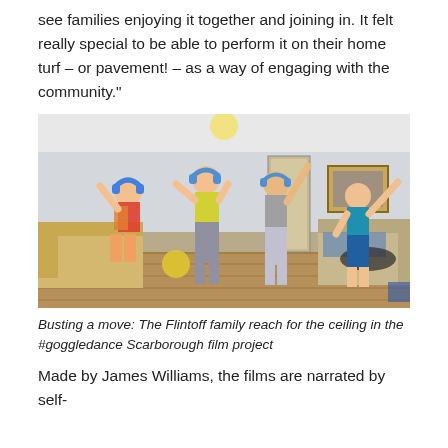see families enjoying it together and joining in. It felt really special to be able to perform it on their home turf – or pavement! – as a way of engaging with the community."
[Figure (photo): A family of four people dancing and jumping energetically in a living room, raising their arms toward the ceiling. They are wearing headphones. The room has sofas, a picture on the wall, and wooden flooring.]
Busting a move: The Flintoff family reach for the ceiling in the #goggledance Scarborough film project
Made by James Williams, the films are narrated by self-